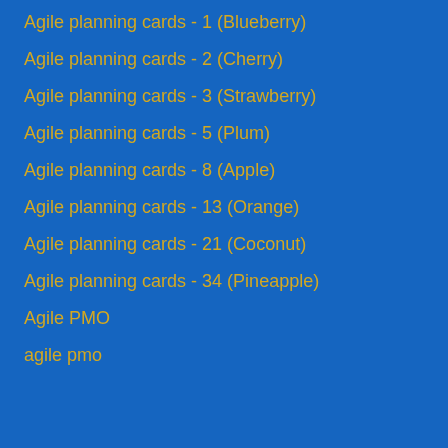Agile planning cards - 1 (Blueberry)
Agile planning cards - 2 (Cherry)
Agile planning cards - 3 (Strawberry)
Agile planning cards - 5 (Plum)
Agile planning cards - 8 (Apple)
Agile planning cards - 13 (Orange)
Agile planning cards - 21 (Coconut)
Agile planning cards - 34 (Pineapple)
Agile PMO
agile pmo